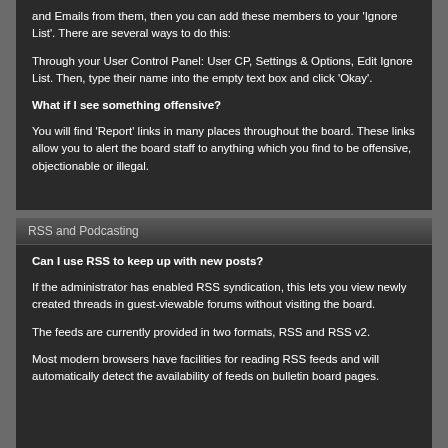and Emails from them, then you can add these members to your 'Ignore List'. There are several ways to do this:
Through your User Control Panel: User CP, Settings & Options, Edit Ignore List. Then, type their name into the empty text box and click 'Okay'.
What if I see something offensive?
You will find 'Report' links in many places throughout the board. These links allow you to alert the board staff to anything which you find to be offensive, objectionable or illegal.
RSS and Podcasting
Can I use RSS to keep up with new posts?
If the administrator has enabled RSS syndication, this lets you view newly created threads in guest-viewable forums without visiting the board.
The feeds are currently provided in two formats, RSS and RSS v2.
Most modern browsers have facilities for reading RSS feeds and will automatically detect the availability of feeds on bulletin board pages.